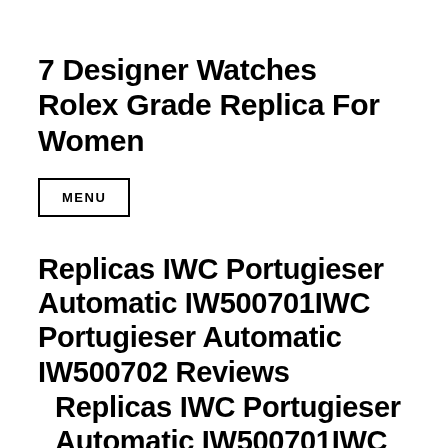7 Designer Watches Rolex Grade Replica For Women
MENU
Replicas IWC Portugieser Automatic IW500701IWC Portugieser Automatic IW500702 Reviews
Replicas IWC Portugieser Automatic IW500701IWC